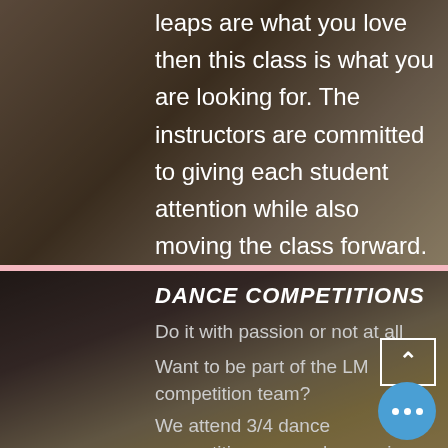[Figure (photo): Dance class photo background showing dancer leaping, with white overlay text describing the class attributes]
leaps are what you love then this class is what you are looking for. The instructors are committed to giving each student attention while also moving the class forward. Showmanship, style, and attack are just some of the attributes learnt in these classes
[Figure (photo): Dance competitions section background showing golden trophies, with text overlay about LM competition team]
DANCE COMPETITIONS
Do it with passion or not at all
Want to be part of the LM competition team?
We attend 3/4 dance competitions year, showcasing amazing choreog in all genres. You can participate in